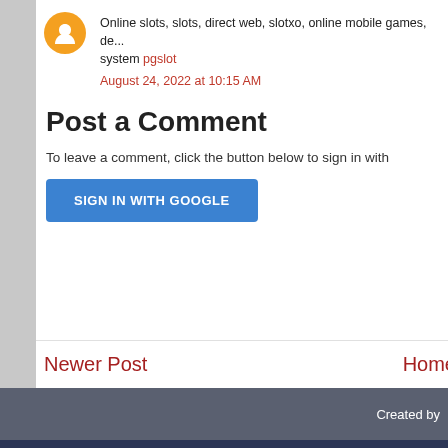Online slots, slots, direct web, slotxo, online mobile games, de... system pgslot
August 24, 2022 at 10:15 AM
Post a Comment
To leave a comment, click the button below to sign in with
SIGN IN WITH GOOGLE
Newer Post
Home
Created by